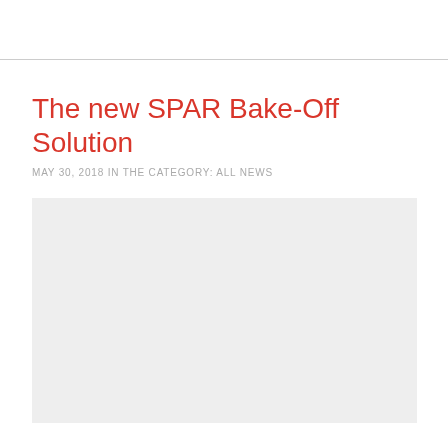The new SPAR Bake-Off Solution
MAY 30, 2018 IN THE CATEGORY: ALL NEWS
[Figure (photo): Large light grey placeholder image block below the article title and metadata]